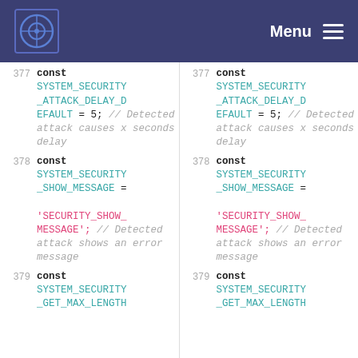Menu
377 const SYSTEM_SECURITY_ATTACK_DELAY_DEFAULT = 5; // Detected attack causes x seconds delay
378 const SYSTEM_SECURITY_SHOW_MESSAGE = 'SECURITY_SHOW_MESSAGE'; // Detected attack shows an error message
379 const SYSTEM_SECURITY_GET_MAX_LENGTH
377 const SYSTEM_SECURITY_ATTACK_DELAY_DEFAULT = 5; // Detected attack causes x seconds delay
378 const SYSTEM_SECURITY_SHOW_MESSAGE = 'SECURITY_SHOW_MESSAGE'; // Detected attack shows an error message
379 const SYSTEM_SECURITY_GET_MAX_LENGTH